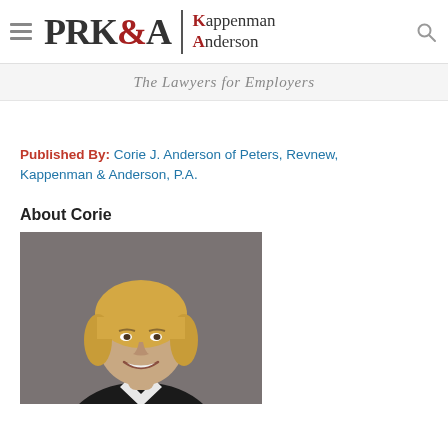[Figure (logo): PRK&A Kappenman Anderson law firm logo with hamburger menu icon and search icon]
The Lawyers for Employers
Published By: Corie J. Anderson of Peters, Revnew, Kappenman & Anderson, P.A.
About Corie
[Figure (photo): Professional headshot of Corie J. Anderson, a woman with short blonde hair, smiling, wearing a dark jacket]